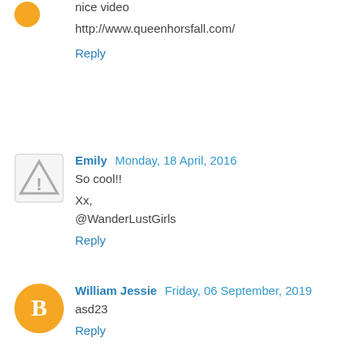nice video
http://www.queenhorsfall.com/
Reply
Emily  Monday, 18 April, 2016
So cool!!
Xx,
@WanderLustGirls
Reply
William Jessie  Friday, 06 September, 2019
asd23
Reply